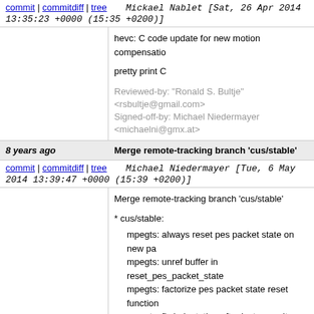commit | commitdiff | tree   Michael Nablet [Sat, 26 Apr 2014 13:35:23 +0000 (15:35 +0200)]
hevc: C code update for new motion compensation
pretty print C
Reviewed-by: "Ronald S. Bultje" <rsbultje@gmail.com>
Signed-off-by: Michael Niedermayer <michaelni@gmx.at>
8 years ago   Merge remote-tracking branch 'cus/stable'
commit | commitdiff | tree   Michael Niedermayer [Tue, 6 May 2014 13:39:47 +0000 (15:39 +0200)]
Merge remote-tracking branch 'cus/stable'
* cus/stable:
  mpegts: always reset pes packet state on new pa
  mpegts: unref buffer in reset_pes_packet_state
  mpegts: factorize pes packet state reset function
  mpegts: fix indentation after last commit
  mpegts: only emit new packets if data buffer exis
  mpegts: remove uneeded buf_size check
Merged-by: Michael Niedermayer <michaelni@gmx.at>
8 years ago   x86/mpegaudiodsp.c: msvc compilation